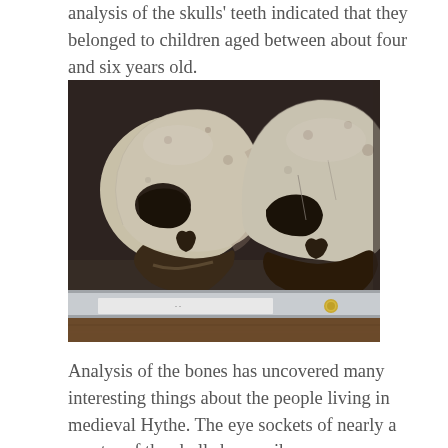analysis of the skulls' teeth indicated that they belonged to children aged between about four and six years old.
[Figure (photo): Two human skulls photographed side by side on a shelf or display surface. The skulls appear ancient/medieval, with visible damage and dark discoloration around the jaw areas. Background is dark. A white label or placard is visible at the bottom of the image.]
Analysis of the bones has uncovered many interesting things about the people living in medieval Hythe. The eye sockets of nearly a quarter of the skulls have cribra